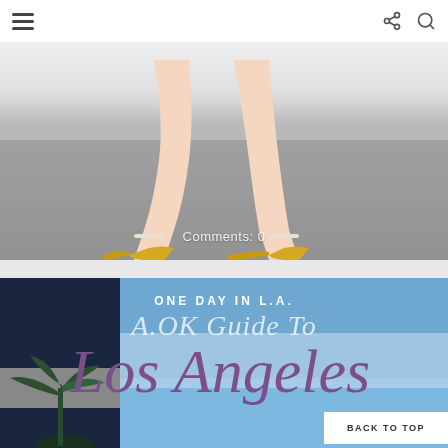[Figure (photo): Close-up of woman's legs walking in yellow strappy high heel shoes on asphalt, with overlay text 'Comments: 0']
Comments: 0
[Figure (photo): Blog graphic with blue/purple background panels showing text: ONE DAY IN L.A. / A.OK Guide To / Los Angeles, with palm tree silhouette and BACK TO TOP button]